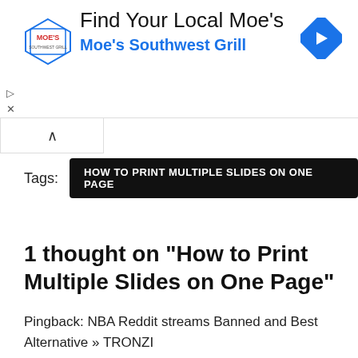[Figure (infographic): Advertisement banner for Moe's Southwest Grill with logo, text 'Find Your Local Moe's / Moe's Southwest Grill', navigation arrow icon, and ad controls (play and close icons)]
Tags: HOW TO PRINT MULTIPLE SLIDES ON ONE PAGE
1 thought on “How to Print Multiple Slides on One Page”
Pingback: NBA Reddit streams Banned and Best Alternative » TRONZI